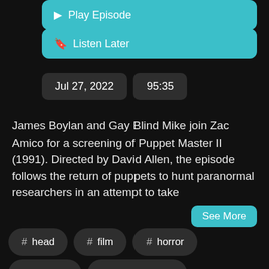[Figure (screenshot): Teal 'Play Episode' button (partially visible at top)]
[Figure (screenshot): Teal 'Listen Later' button with bookmark icon]
Jul 27, 2022    95:35
James Boylan and Gay Blind Mike join Zac Amico for a screening of Puppet Master II (1991). Directed by David Allen, the episode follows the return of puppets to hunt paranormal researchers in an attempt to take
See More
# head
# film
# horror
# directed
# horror movies
# puppets
# zac
david allen
# puppet master
# boylan